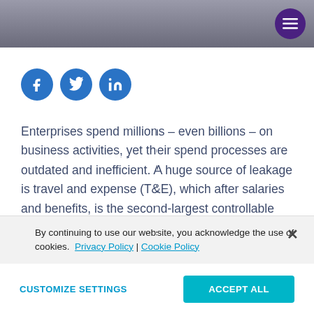[Figure (photo): Top photo strip showing coins on a dark surface, partially visible]
[Figure (other): Three social media icons: Facebook (f), Twitter (bird), LinkedIn (in) — blue circles]
Enterprises spend millions – even billions – on business activities, yet their spend processes are outdated and inefficient. A huge source of leakage is travel and expense (T&E), which after salaries and benefits, is the second-largest controllable business expense. It's also one of the most complex and difficult to control. Over a third of T&E spend is
By continuing to use our website, you acknowledge the use of cookies.  Privacy Policy |  Cookie Policy
CUSTOMIZE SETTINGS
ACCEPT ALL